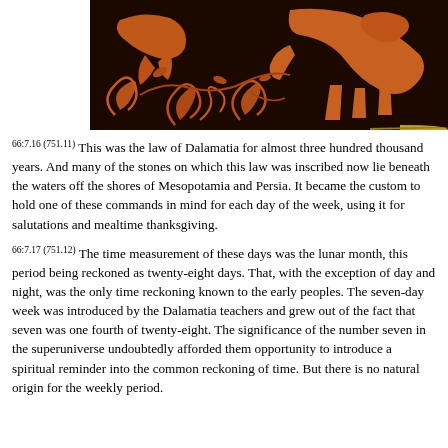[Figure (photo): Ancient Greek red-figure pottery detail showing figures and decorative vine/scroll motifs on a black background]
66:7.16 (751.11) This was the law of Dalamatia for almost three hundred thousand years. And many of the stones on which this law was inscribed now lie beneath the waters off the shores of Mesopotamia and Persia. It became the custom to hold one of these commands in mind for each day of the week, using it for salutations and mealtime thanksgiving.
66:7.17 (751.12) The time measurement of these days was the lunar month, this period being reckoned as twenty-eight days. That, with the exception of day and night, was the only time reckoning known to the early peoples. The seven-day week was introduced by the Dalamatia teachers and grew out of the fact that seven was one fourth of twenty-eight. The significance of the number seven in the superuniverse undoubtedly afforded them opportunity to introduce a spiritual reminder into the common reckoning of time. But there is no natural origin for the weekly period.